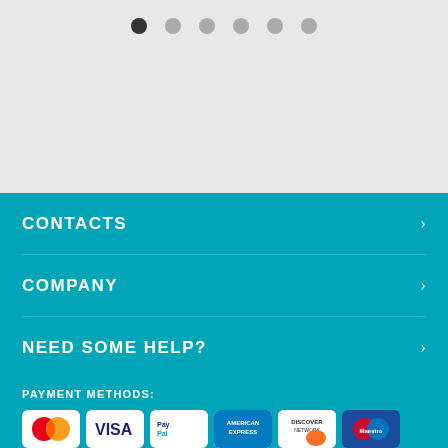[Figure (other): Pagination dots - one dark active dot followed by five grey dots]
CONTACTS
COMPANY
NEED SOME HELP?
PAYMENT METHODS:
[Figure (other): Payment method icons: MasterCard, VISA, PayPal, American Express, Discover Network, Maestro]
BUY WITH CONFIDENCE:
[Figure (other): Trust badges: GoDaddy.com Secured, Secured Payments powered by PayPal, SSL Secure]